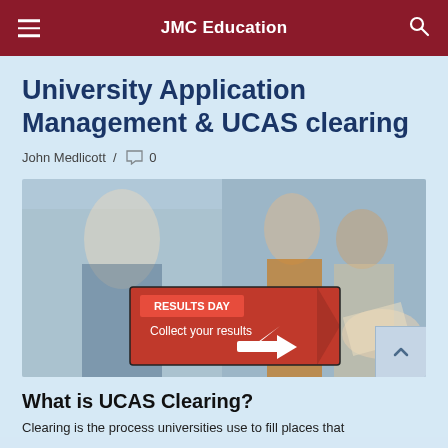JMC Education
University Application Management & UCAS clearing
John Medlicott / 0
[Figure (photo): Students on results day with a red sign reading 'RESULTS DAY – Collect your results' with an arrow, and students in background carrying papers.]
What is UCAS Clearing?
Clearing is the process universities use to fill places that...